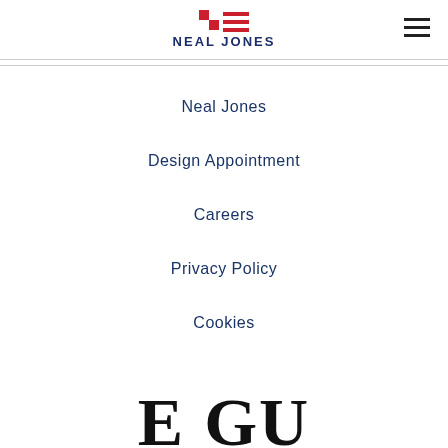NEAL JONES
Neal Jones
Design Appointment
Careers
Privacy Policy
Cookies
[Figure (logo): Partial text reading 'E GU' in large bold serif font at the bottom of the page, cut off by page edge]